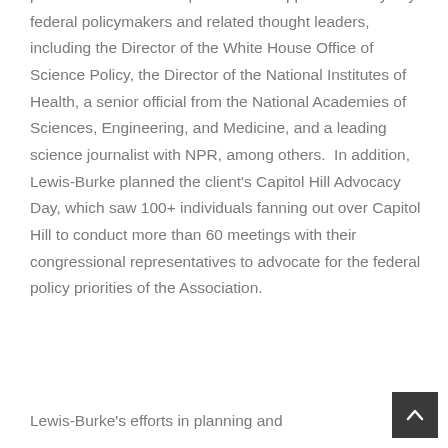professional relationships to secure appearances by key federal policymakers and related thought leaders, including the Director of the White House Office of Science Policy, the Director of the National Institutes of Health, a senior official from the National Academies of Sciences, Engineering, and Medicine, and a leading science journalist with NPR, among others.  In addition, Lewis-Burke planned the client's Capitol Hill Advocacy Day, which saw 100+ individuals fanning out over Capitol Hill to conduct more than 60 meetings with their congressional representatives to advocate for the federal policy priorities of the Association.
Lewis-Burke's efforts in planning and